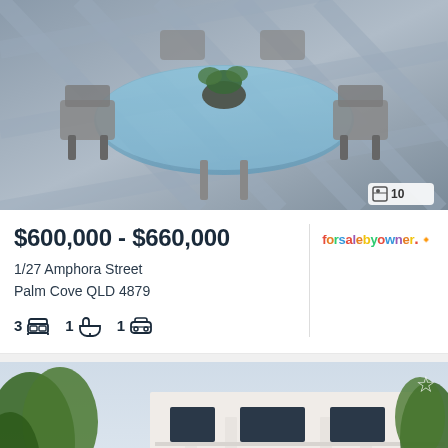[Figure (photo): Outdoor dining area with glass table and grey chairs on a balcony, with plants]
$600,000 - $660,000
1/27 Amphora Street
Palm Cove QLD 4879
3 beds  1 bath  1 garage
[Figure (logo): forsalebyowner logo in multicolored letters]
[Figure (photo): White multi-storey apartment building called Elysium with columns, balconies and tropical landscaping]